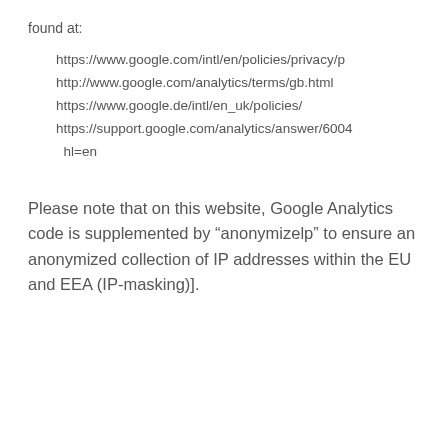found at:
https://www.google.com/intl/en/policies/privacy/p
http://www.google.com/analytics/terms/gb.html
https://www.google.de/intl/en_uk/policies/
https://support.google.com/analytics/answer/6004 hl=en
Please note that on this website, Google Analytics code is supplemented by “anonymizelp” to ensure an anonymized collection of IP addresses within the EU and EEA (IP-masking)].